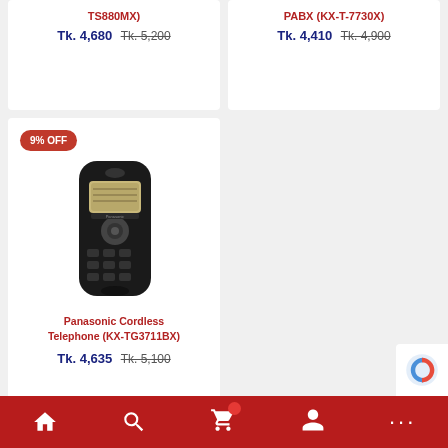TS880MX)
Tk. 4,680  Tk. 5,200
PABX (KX-T-7730X)
Tk. 4,410  Tk. 4,900
[Figure (photo): 9% OFF badge on Panasonic Cordless Telephone (KX-TG3711BX) product card. Shows a black cordless DECT phone handset with display and keypad.]
Panasonic Cordless Telephone (KX-TG3711BX)
Tk. 4,635  Tk. 5,100
Home | Search | Cart | Account | More